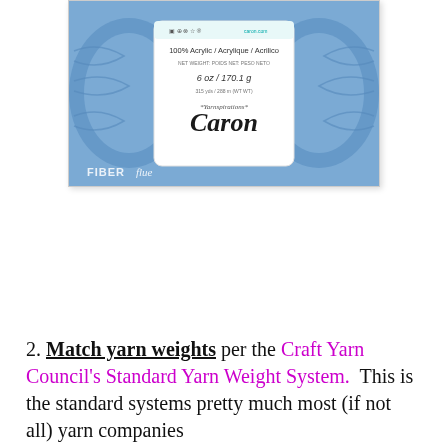[Figure (photo): A skein of blue acrylic yarn with a white label reading '100% Acrylic / Acrylique / Acrilico, 6 oz / 170.1 g, Yarnspirations Caron'. The FIBERflux watermark appears at the bottom left.]
2. Match yarn weights per the Craft Yarn Council's Standard Yarn Weight System.  This is the standard systems pretty much most (if not all) yarn companies